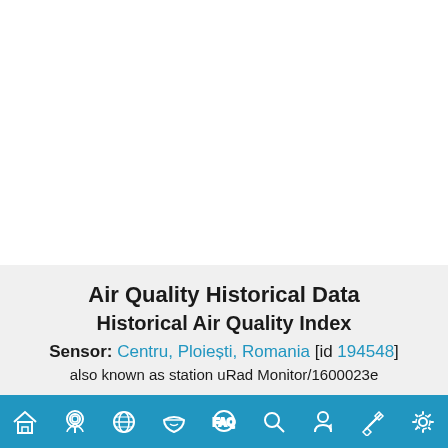Air Quality Historical Data
Historical Air Quality Index
Sensor: Centru, Ploiești, Romania [id 194548]
also known as station uRad Monitor/1600023e
Navigation bar with icons: home, location, globe, mask, FAQ, search, user, link, settings